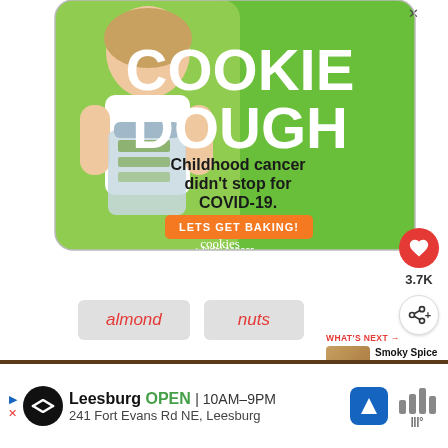[Figure (photo): Advertisement for Cookies for Kids' Cancer fundraiser. Green background with a young girl holding a jar of money. Large white text reads 'COOKIE DOUGH'. Black text reads 'Childhood cancer didn't stop for COVID-19.' Orange button reads 'LETS GET BAKING!' Cookies for kids' cancer logo at bottom.]
[Figure (infographic): Red circular heart/like button with count '3.7K' below, and a share button below that.]
almond
nuts
[Figure (photo): What's Next panel: small thumbnail of food (Smoky Spice Honey...) with label 'WHAT'S NEXT →' above.]
[Figure (screenshot): Bottom advertisement strip for a store in Leesburg. Shows store logo, text 'Leesburg OPEN 10AM-9PM 241 Fort Evans Rd NE, Leesburg', navigation arrow icon, and weather bars.]